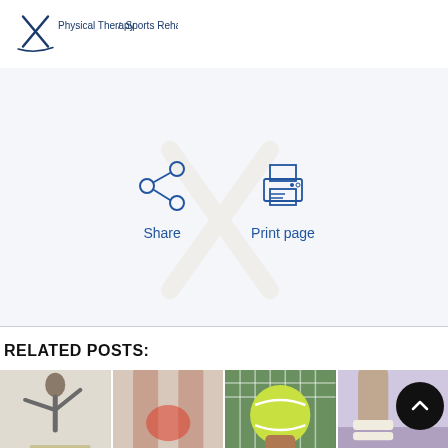Physical Therapy / Sports Rehabilitation
[Figure (infographic): Share icon and Print page icon with labels below each]
RELATED POSTS:
[Figure (photo): Four related post thumbnail images: yoga/stretching pose, leg injury with red highlight, hand holding tennis ball at net, person with bandaged ankle]